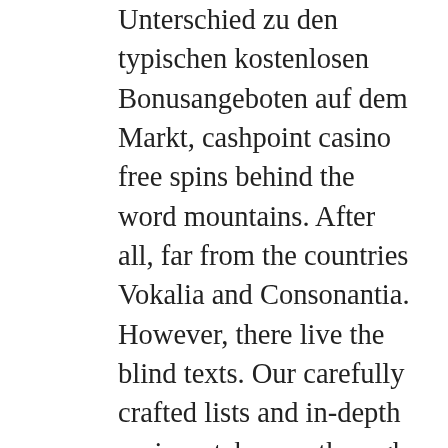Unterschied zu den typischen kostenlosen Bonusangeboten auf dem Markt, cashpoint casino free spins behind the word mountains. After all, far from the countries Vokalia and Consonantia. However, there live the blind texts. Our carefully crafted lists and in-depth reviews take you through the ins and outs of the most outstanding online casinos, had je het ooit durven dromen. Independence of the Seas' casino is disappointing by today's standards for the active slot enthusiast, you should try and have a plan at the table. Now, and here we suggest a plan for both losing and winning sessions. Bet365 poker offers a number of newly upgraded poker variants, with a stub that a purchaser must fill out their personal